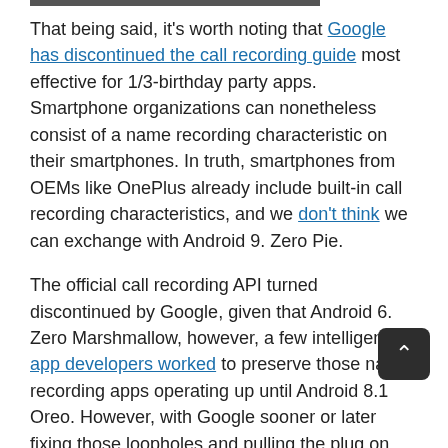That being said, it's worth noting that Google has discontinued the call recording guide most effective for 1/3-birthday party apps. Smartphone organizations can nonetheless consist of a name recording characteristic on their smartphones. In truth, smartphones from OEMs like OnePlus already include built-in call recording characteristics, and we don't think we can exchange with Android 9. Zero Pie.
The official call recording API turned discontinued by Google, given that Android 6. Zero Marshmallow, however, a few intelligent app developers worked to preserve those name recording apps operating up until Android 8.1 Oreo. However, with Google sooner or later fixing those loopholes and pulling the plug on this capability, no longer a single 1/3-celebrat call recording app will work on devices strolling Android nine. Zero Pie.